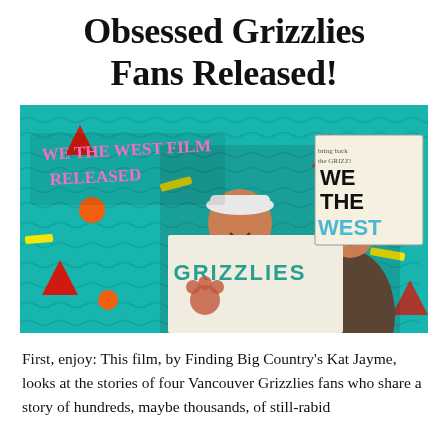Obsessed Grizzlies Fans Released!
[Figure (photo): Promotional image for 'We The West Film Released' showing two Vancouver Grizzlies fans holding a Grizzlies banner on a colorful teal retro-patterned background with geometric shapes (triangles, circles, rectangles in red, orange, yellow). One fan holds a handmade sign saying 'WE THE WEST'. Text overlay reads 'WE THE WEST FILM RELEASED' in pink graffiti style lettering.]
First, enjoy: This film, by Finding Big Country's Kat Jayme, looks at the stories of four Vancouver Grizzlies fans who share a story of hundreds, maybe thousands, of still-rabid